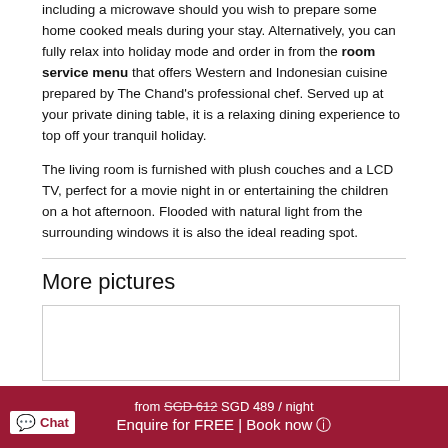including a microwave should you wish to prepare some home cooked meals during your stay. Alternatively, you can fully relax into holiday mode and order in from the room service menu that offers Western and Indonesian cuisine prepared by The Chand's professional chef. Served up at your private dining table, it is a relaxing dining experience to top off your tranquil holiday.
The living room is furnished with plush couches and a LCD TV, perfect for a movie night in or entertaining the children on a hot afternoon. Flooded with natural light from the surrounding windows it is also the ideal reading spot.
More pictures
[Figure (photo): Placeholder image box for more pictures section]
from SGD 612 SGD 489 / night  Enquire for FREE | Book now  Chat